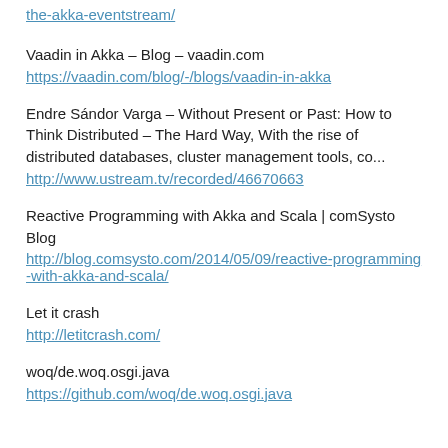the-akka-eventstream/
https://... the-akka-eventstream/
Vaadin in Akka – Blog – vaadin.com
https://vaadin.com/blog/-/blogs/vaadin-in-akka
Endre Sándor Varga – Without Present or Past: How to Think Distributed – The Hard Way, With the rise of distributed databases, cluster management tools, co...
http://www.ustream.tv/recorded/46670663
Reactive Programming with Akka and Scala | comSysto Blog
http://blog.comsysto.com/2014/05/09/reactive-programming-with-akka-and-scala/
Let it crash
http://letitcrash.com/
woq/de.woq.osgi.java
https://github.com/woq/de.woq.osgi.java